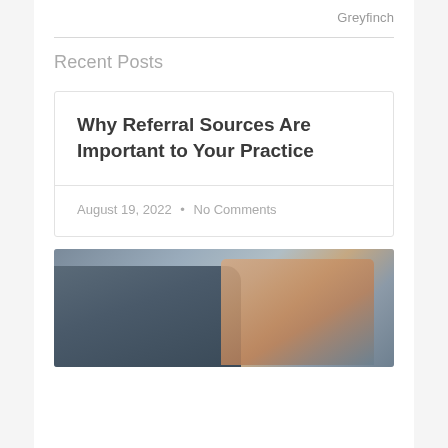Greyfinch
Recent Posts
Why Referral Sources Are Important to Your Practice
August 19, 2022 • No Comments
[Figure (photo): Two people pointing at a laptop screen, shown from above focusing on hands and wrists with a fitness tracker visible]